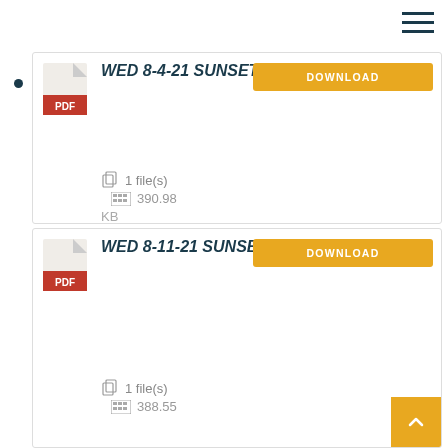[Figure (screenshot): Hamburger menu icon (three horizontal lines) in top right corner]
WED 8-4-21 SUNSET SERIES RACE #1 — 1 file(s) — 390.98 KB — DOWNLOAD button
WED 8-11-21 SUNSET SERIES RACE #2 — 1 file(s) — 388.55 KB — DOWNLOAD button